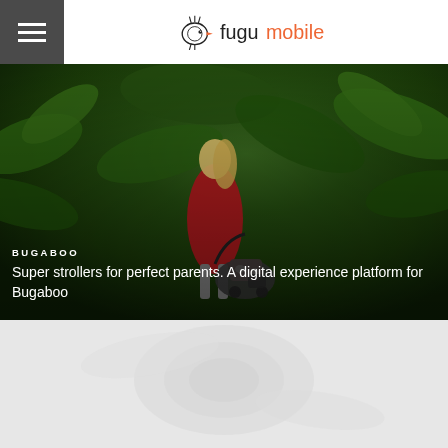[Figure (logo): Fugumobile logo with bird icon and text 'fugumobile' in black and red]
[Figure (photo): Hero image of a woman in a red coat with a Bugaboo stroller in a lush tropical green garden setting]
BUGABOO
Super strollers for perfect parents. A digital experience platform for Bugaboo
[Figure (photo): Faded grey watermark background image in bottom section]